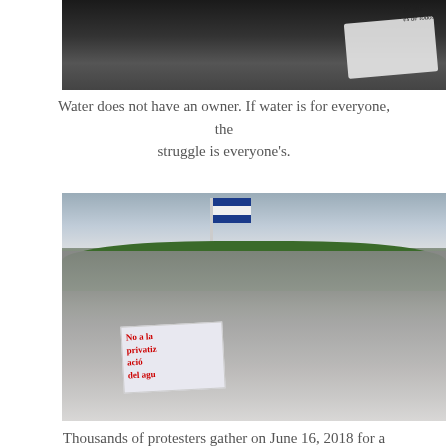[Figure (photo): Close-up photo showing feet and legs of protesters on pavement with a white banner/flag visible in the upper right corner with text partially visible.]
Water does not have an owner.  If water is for everyone, the struggle is everyone's.
[Figure (photo): Thousands of protesters gathered in a public square on June 16, 2018, with a national flag on a pole, trees in the background, buildings, and protesters holding signs including one reading 'No a la privatización del agua'.]
Thousands of protesters gather on June 16, 2018 for a march against privatization of water.